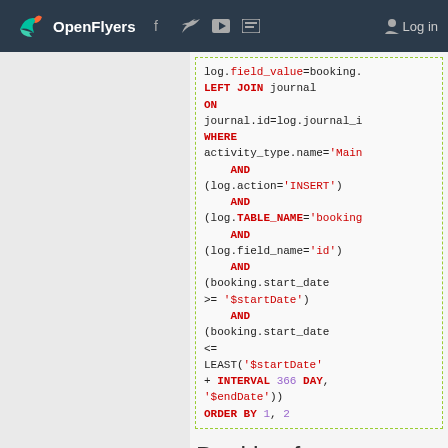OpenFlyers | Log in
[Figure (screenshot): SQL code block showing a LEFT JOIN query with WHERE conditions on activity_type, log.action, log.TABLE_NAME, log.field_name, booking.start_date with LEAST function and ORDER BY clause]
Booking for